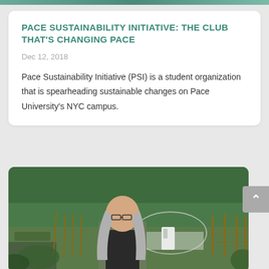PACE SUSTAINABILITY INITIATIVE: THE CLUB THAT'S CHANGING PACE
Dec 12, 2018
Pace Sustainability Initiative (PSI) is a student organization that is spearheading sustainable changes on Pace University's NYC campus.
[Figure (photo): A woman with long gray hair and glasses standing outdoors in what appears to be a community garden or farm, with a greenhouse structure visible in the background and trees behind.]